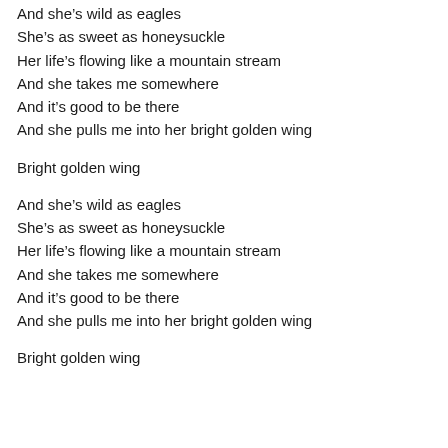And she's wild as eagles
She's as sweet as honeysuckle
Her life's flowing like a mountain stream
And she takes me somewhere
And it's good to be there
And she pulls me into her bright golden wing
Bright golden wing
And she's wild as eagles
She's as sweet as honeysuckle
Her life's flowing like a mountain stream
And she takes me somewhere
And it's good to be there
And she pulls me into her bright golden wing
Bright golden wing